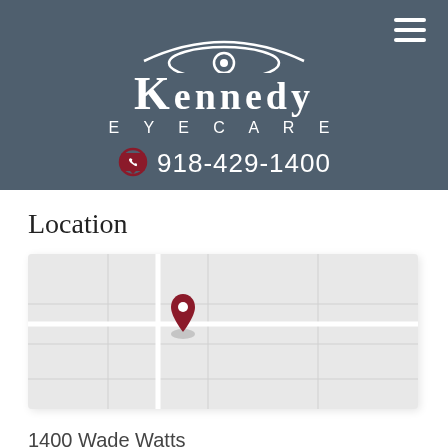[Figure (logo): Kennedy Eyecare logo with eye illustration above text, white on dark blue-grey background]
918-429-1400
Location
[Figure (map): Embedded map placeholder showing location of Kennedy Eyecare]
1400 Wade Watts
McAlester, OK 74501